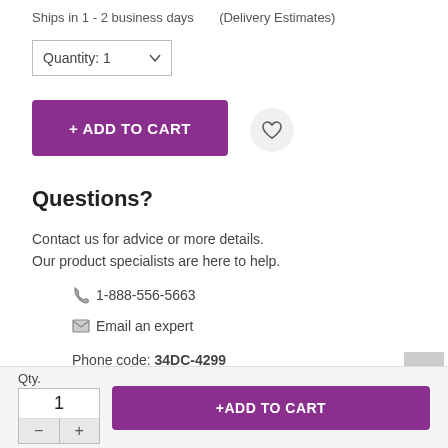Ships in 1 - 2 business days   (Delivery Estimates)
Quantity: 1
+ ADD TO CART
Questions?
Contact us for advice or more details.
Our product specialists are here to help.
1-888-556-5663
Email an expert
Phone code: 34DC-4299
Item number: 2425820
Qty.
+ADD TO CART